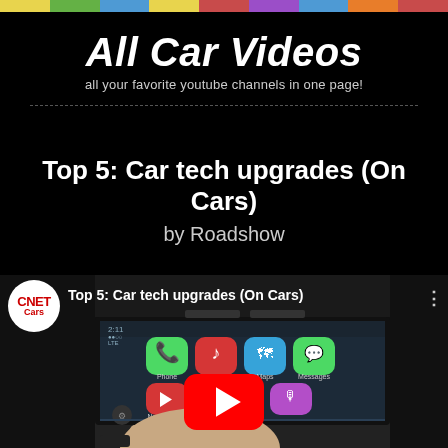[Figure (infographic): Rainbow color bar strip at the top of the page with segments: yellow, green, blue, yellow, red, purple, blue, orange, red]
All Car Videos
all your favorite youtube channels in one page!
Top 5: Car tech upgrades (On Cars)
by Roadshow
[Figure (screenshot): YouTube video thumbnail showing a car infotainment screen with Apple CarPlay interface. CNET Cars logo in top left, video title 'Top 5: Car tech upgrades (On Cars)' at top, YouTube play button overlay in center, hand pointing at screen.]